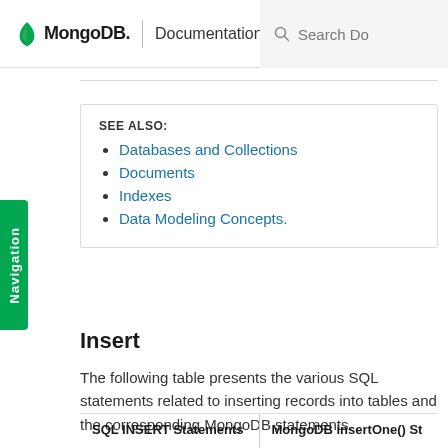MongoDB. | Documentation  Search Do
SEE ALSO:
Databases and Collections
Documents
Indexes
Data Modeling Concepts.
Insert
The following table presents the various SQL statements related to inserting records into tables and the corresponding MongoDB statements.
| SQL INSERT Statements | MongoDB insertOne() St |
| --- | --- |